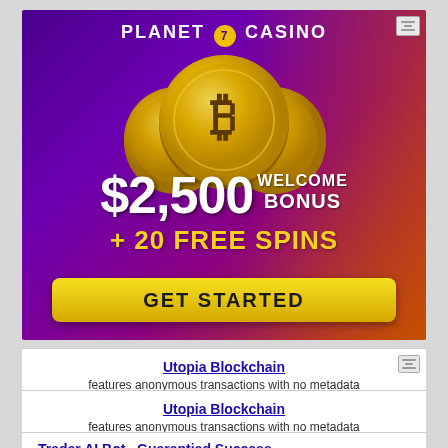[Figure (illustration): Planet 7 Casino advertisement banner with purple/gold gradient background, three Bitcoin/cryptocurrency gold coins, text showing $2,500 WELCOME BONUS + 20 FREE SPINS, and a yellow GET STARTED button]
Utopia Blockchain
features anonymous transactions with no metadata
u.is
Utopia Blockchain
features anonymous transactions with no metadata
u.is
Trader AI Bot , Guarantied Success